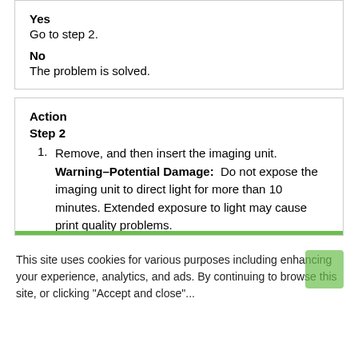Yes
Go to step 2.
No
The problem is solved.
Action
Step 2
1. Remove, and then insert the imaging unit. Warning–Potential Damage: Do not expose the imaging unit to direct light for more than 10 minutes. Extended exposure to light may cause print quality problems.
This site uses cookies for various purposes including enhancing your experience, analytics, and ads. By continuing to browse this site, or clicking "Accept and close"...